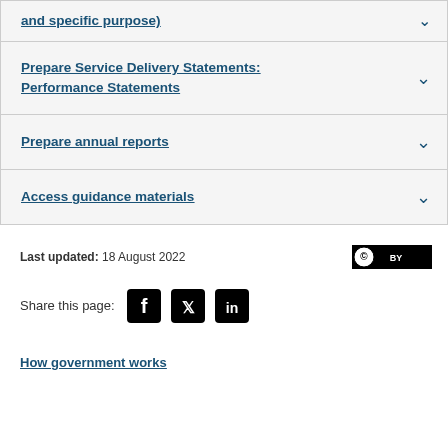and specific purpose)
Prepare Service Delivery Statements: Performance Statements
Prepare annual reports
Access guidance materials
Last updated: 18 August 2022
[Figure (logo): Creative Commons CC BY license badge]
Share this page:
[Figure (infographic): Social media icons: Facebook, Twitter, LinkedIn]
How government works